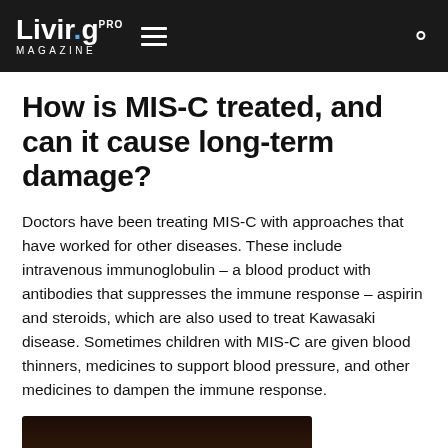Livir.g PRO MAGAZINE
How is MIS-C treated, and can it cause long-term damage?
Doctors have been treating MIS-C with approaches that have worked for other diseases. These include intravenous immunoglobulin – a blood product with antibodies that suppresses the immune response – aspirin and steroids, which are also used to treat Kawasaki disease. Sometimes children with MIS-C are given blood thinners, medicines to support blood pressure, and other medicines to dampen the immune response.
[Figure (photo): Partial photo of a person showing skin/hand area, dark background, cropped at bottom of page]